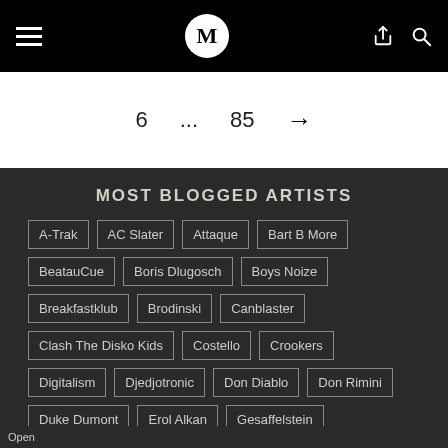Navigation bar with hamburger menu, M logo, share and search icons
6 ... 85 →
MOST BLOGGED ARTISTS
A-Trak
AC Slater
Attaque
Bart B More
BeatauCue
Boris Dlugosch
Boys Noize
Breakfastklub
Brodinski
Canblaster
Clash The Disko Kids
Costello
Crookers
Digitalism
Djedjotronic
Don Diablo
Don Rimini
Duke Dumont
Erol Alkan
Gesaffelstein